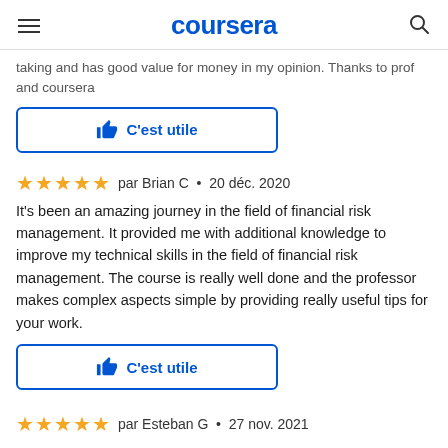coursera
taking and has good value for money in my opinion. Thanks to prof and coursera
C'est utile
par Brian C • 20 déc. 2020
It's been an amazing journey in the field of financial risk management. It provided me with additional knowledge to improve my technical skills in the field of financial risk management. The course is really well done and the professor makes complex aspects simple by providing really useful tips for your work.
C'est utile
par Esteban G • 27 nov. 2021